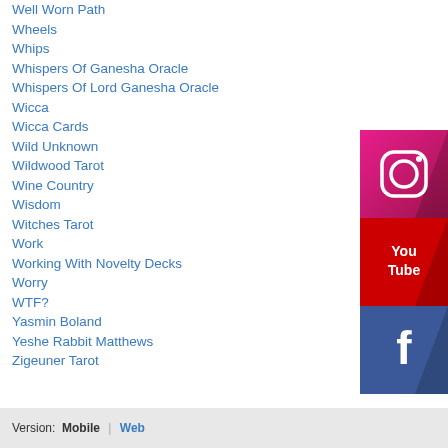Well Worn Path
Wheels
Whips
Whispers Of Ganesha Oracle
Whispers Of Lord Ganesha Oracle
Wicca
Wicca Cards
Wild Unknown
Wildwood Tarot
Wine Country
Wisdom
Witches Tarot
Work
Working With Novelty Decks
Worry
WTF?
Yasmin Boland
Yeshe Rabbit Matthews
Zigeuner Tarot
[Figure (logo): Instagram logo icon — pink/magenta square with camera icon]
[Figure (logo): YouTube logo icon — red square with You Tube text]
[Figure (logo): Facebook logo icon — blue square with f letter]
Version:  Mobile | Web